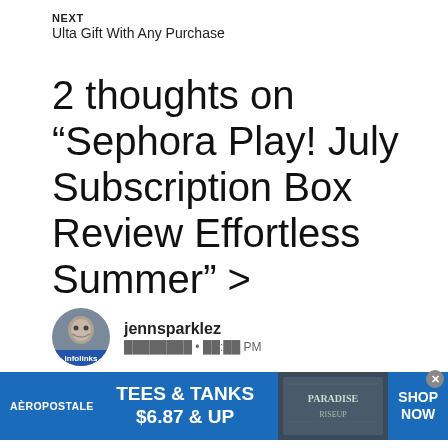NEXT
Ulta Gift With Any Purchase
2 thoughts on “Sephora Play! July Subscription Box Review Effortless Summer” >
jennsparklez
[Figure (infographic): Aeropostale advertisement banner: TEES & TANKS $6.87 & UP, SHOP NOW, with infolinks badge on avatar]
AEROPOSTALE  TEES & TANKS $6.87 & UP  SHOP NOW